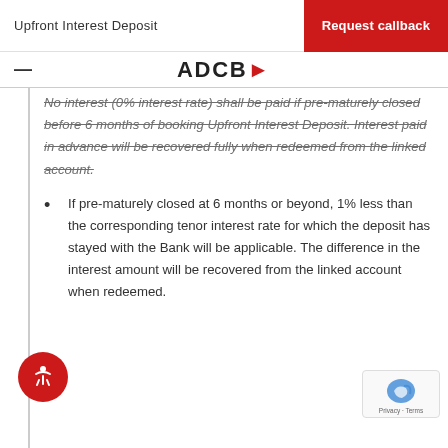Upfront Interest Deposit | Request callback
No interest (0% interest rate) shall be paid if pre-maturely closed before 6 months of booking Upfront Interest Deposit. Interest paid in advance will be recovered fully when redeemed from the linked account.
If pre-maturely closed at 6 months or beyond, 1% less than the corresponding tenor interest rate for which the deposit has stayed with the Bank will be applicable. The difference in the interest amount will be recovered from the linked account when redeemed.